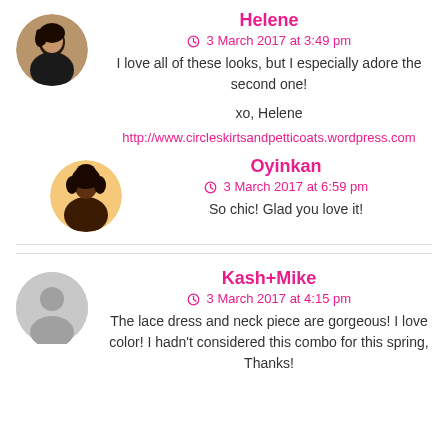Helene
3 March 2017 at 3:49 pm
I love all of these looks, but I especially adore the second one!

xo, Helene
http://www.circleskirtsandpetticoats.wordpress.com
Oyinkan
3 March 2017 at 6:59 pm
So chic! Glad you love it!
Kash+Mike
3 March 2017 at 4:15 pm
The lace dress and neck piece are gorgeous! I love color! I hadn't considered this combo for this spring, Thanks!